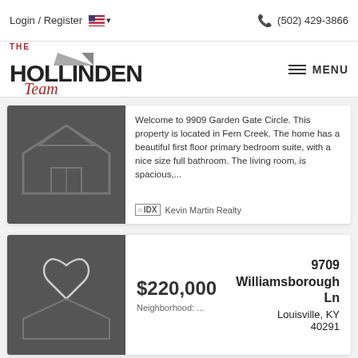Login / Register  🇺🇸 ▾  📞 (502) 429-3866
[Figure (logo): The Hollinden Team real estate logo]
≡ MENU
Welcome to 9909 Garden Gate Circle. This property is located in Fern Creek. The home has a beautiful first floor primary bedroom suite, with a nice size full bathroom. The living room, is spacious,...
IDX  Kevin Martin Realty
$220,000
Neighborhood: ...
9709 Williamsborough Ln
Louisville, KY 40291